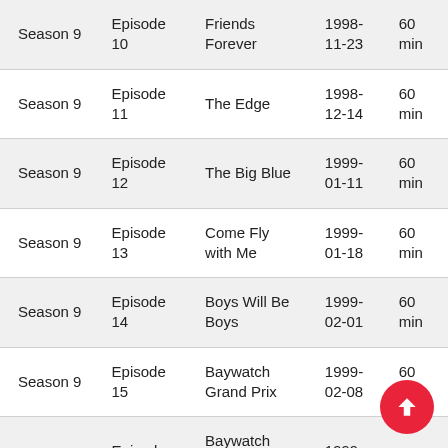| Season 9 | Episode 10 | Friends Forever | 1998-11-23 | 60 min |
| Season 9 | Episode 11 | The Edge | 1998-12-14 | 60 min |
| Season 9 | Episode 12 | The Big Blue | 1999-01-11 | 60 min |
| Season 9 | Episode 13 | Come Fly with Me | 1999-01-18 | 60 min |
| Season 9 | Episode 14 | Boys Will Be Boys | 1999-02-01 | 60 min |
| Season 9 | Episode 15 | Baywatch Grand Prix | 1999-02-08 | 60 min |
| Season 9 | Episode 16 | Baywatch Down Under (1) | 1999-02-15 | 60 min |